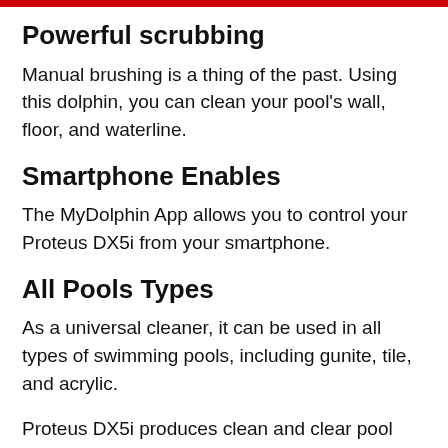Powerful scrubbing
Manual brushing is a thing of the past. Using this dolphin, you can clean your pool’s wall, floor, and waterline.
Smartphone Enables
The MyDolphin App allows you to control your Proteus DX5i from your smartphone.
All Pools Types
As a universal cleaner, it can be used in all types of swimming pools, including gunite, tile, and acrylic.
Proteus DX5i produces clean and clear pool water by scrubbing the waterline and filtering